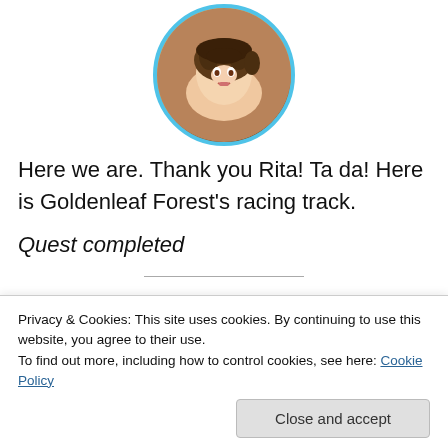[Figure (illustration): Animated female character avatar with blue circular border, brown hair with bun, shown from shoulders up against a stone-like background]
Here we are. Thank you Rita! Ta da! Here is Goldenleaf Forest's racing track.
Quest completed
Try Emma's Forest Racing Trail
[Figure (illustration): Partial animated character avatar with blue circular border, top portion visible]
Privacy & Cookies: This site uses cookies. By continuing to use this website, you agree to their use.
To find out more, including how to control cookies, see here: Cookie Policy
Yes Rita. I don't have a horse here, so it hasn't been easy